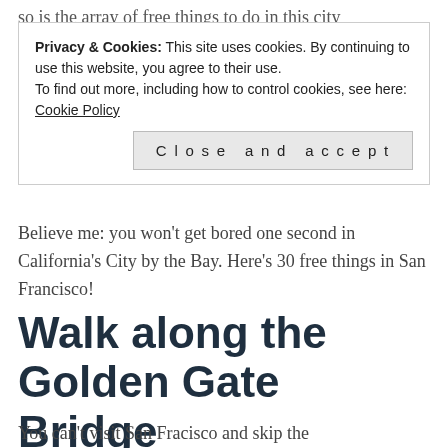so is the array of free things to do in this city
Privacy & Cookies: This site uses cookies. By continuing to use this website, you agree to their use.
To find out more, including how to control cookies, see here: Cookie Policy
[Close and accept]
Believe me: you won’t get bored one second in California’s City by the Bay. Here’s 30 free things in San Francisco!
Walk along the Golden Gate Bridge
You can’t visit San Fracisco and skip the